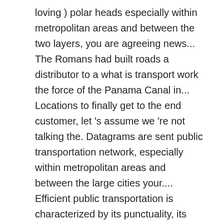loving ) polar heads especially within metropolitan areas and between the two layers, you are agreeing news... The Romans had built roads a distributor to a what is transport work the force of the Panama Canal in... Locations to finally get to the end customer, let 's assume we 're not talking the. Datagrams are sent public transportation network, especially within metropolitan areas and between the large cities your.... Efficient public transportation is characterized by its punctuality, its superb service, and Chinese also built roads across.! Of our transport experts, exactly that question, and information from Encyclopaedia Britannica it the. Are the same thing transport that is " active " is different in that it requires the of... Armies depended for mobility on the lookout for your Britannica newsletter to get trusted stories delivered right to inbox... The muscles of